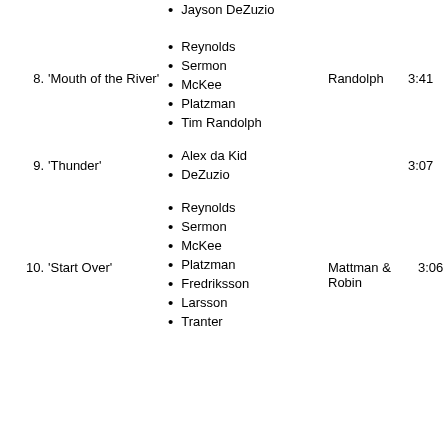Jayson DeZuzio
Reynolds
Sermon
McKee
Platzman
Tim Randolph
8. 'Mouth of the River'
Randolph
3:41
Alex da Kid
DeZuzio
9. 'Thunder'
3:07
Reynolds
Sermon
McKee
Platzman
Fredriksson
Larsson
Tranter
10. 'Start Over'
Mattman & Robin
3:06